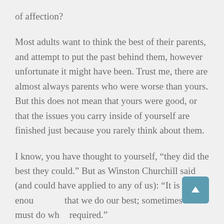of affection?
Most adults want to think the best of their parents, and attempt to put the past behind them, however unfortunate it might have been. Trust me, there are almost always parents who were worse than yours. But this does not mean that yours were good, or that the issues you carry inside of yourself are finished just because you rarely think about them.
I know, you have thought to yourself, “they did the best they could.” But as Winston Churchill said (and could have applied to any of us): “It is not enou… that we do our best; sometimes we must do wh… required.”